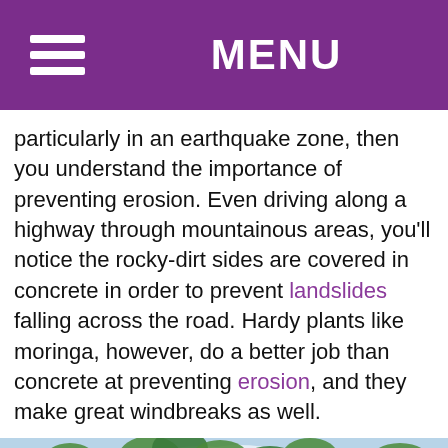MENU
particularly in an earthquake zone, then you understand the importance of preventing erosion. Even driving along a highway through mountainous areas, you'll notice the rocky-dirt sides are covered in concrete in order to prevent landslides falling across the road. Hardy plants like moringa, however, do a better job than concrete at preventing erosion, and they make great windbreaks as well.
[Figure (photo): Photo of moringa tree with feathery green leaves and long seed pods hanging down against a blue sky background]